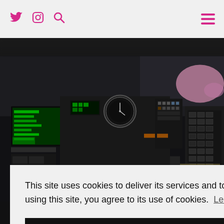Navigation bar with Twitter, Instagram, Search icons and hamburger menu
[Figure (photo): Aircraft cockpit interior showing dark instrument panel with green illuminated displays, switches, knobs, analog clock gauge, and various flight controls. A pink/purple seat is visible in the upper right background.]
This site uses cookies to deliver its services and to analyse traffic. By using this site, you agree to its use of cookies. Learn more
OK
uch to
to see